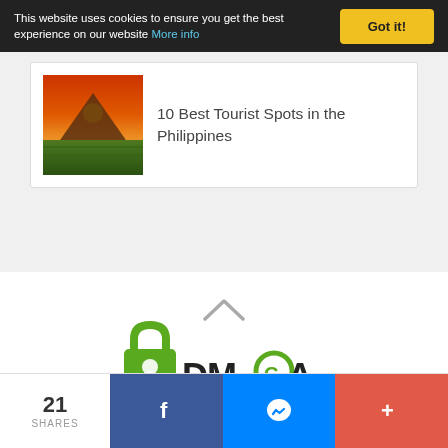This website uses cookies to ensure you get the best experience on our website More info
Got it!
[Figure (photo): Thumbnail photo of a mountain at sunset with orange sky and green rice fields]
10 Best Tourist Spots in the Philippines
[Figure (illustration): Upward pointing chevron/arrow symbol]
[Figure (logo): DMCA.com logo with green padlock icon and stylized text]
21
SHARES